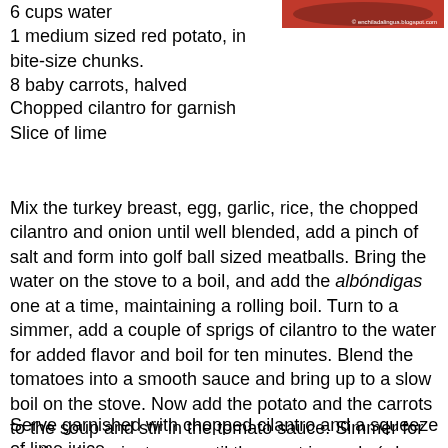6 cups water
1 medium sized red potato, in bite-size chunks.
8 baby carrots, halved
[Figure (photo): Photo of albondigas soup in a bowl with red tomato broth, partially visible at top right]
Chopped cilantro for garnish
Slice of lime
Mix the turkey breast, egg, garlic, rice, the chopped cilantro and onion until well blended, add a pinch of salt and form into golf ball sized meatballs. Bring the water on the stove to a boil, and add the albóndigas one at a time, maintaining a rolling boil. Turn to a simmer, add a couple of sprigs of cilantro to the water for added flavor and boil for ten minutes. Blend the tomatoes into a smooth sauce and bring up to a slow boil on the stove. Now add the potato and the carrots to the soup and stir in the tomato sauce. Simmer for another ten minutes or until the meat is ready (when the rice kernels are puffed up and split open.). Taste the soup and adjust according to taste.
Serve garnished with chopped cilantro and a squeeze of lime juice.